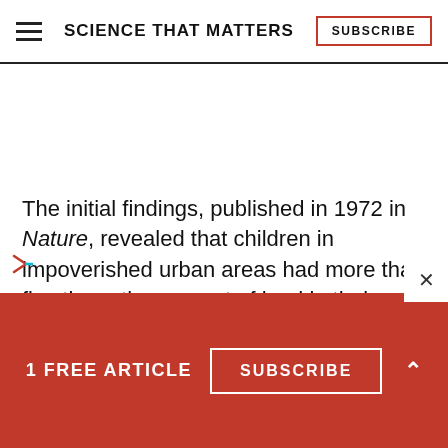SCIENCE THAT MATTERS
The initial findings, published in 1972 in Nature, revealed that children in impoverished urban areas had more than five times the amount of lead in their bodies than their suburban counterparts; at least 20
1 FREE ARTICLE  SUBSCRIBE